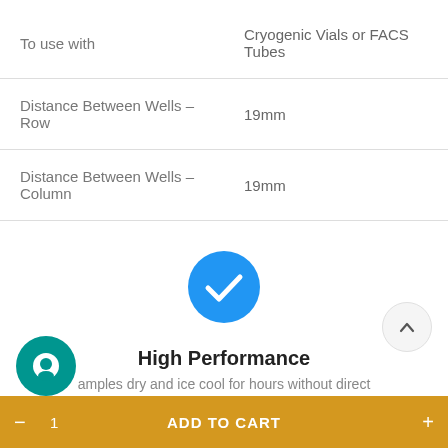| Property | Value |
| --- | --- |
| To use with | Cryogenic Vials or FACS Tubes |
| Distance Between Wells – Row | 19mm |
| Distance Between Wells – Column | 19mm |
[Figure (illustration): Blue circle with white checkmark icon indicating high performance feature]
High Performance
amples dry and ice cool for hours without direct